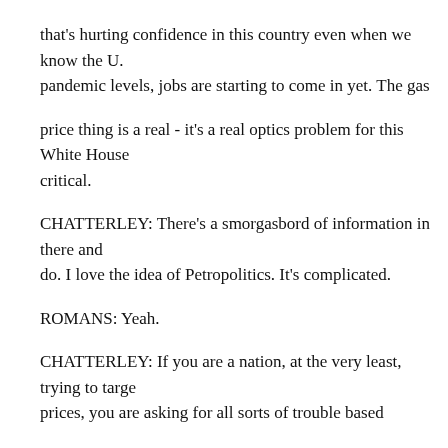that's hurting confidence in this country even when we know the U. pandemic levels, jobs are starting to come in yet. The gas
price thing is a real - it's a real optics problem for this White House critical.
CHATTERLEY: There's a smorgasbord of information in there and do. I love the idea of Petropolitics. It's complicated.
ROMANS: Yeah.
CHATTERLEY: If you are a nation, at the very least, trying to targe prices, you are asking for all sorts of trouble based
on what we see in terms of history trying to achieve this. But I gues stories together here.